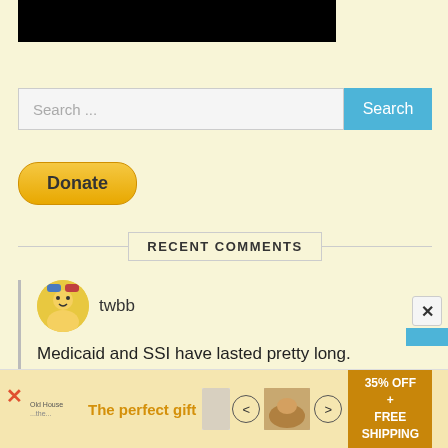[Figure (other): Black header banner bar at top of webpage]
[Figure (other): Search bar with text 'Search ...' and a blue 'Search' button]
[Figure (other): PayPal-style yellow Donate button]
RECENT COMMENTS
[Figure (other): User avatar circle icon (Homer Simpson style yellow cartoon character) next to username 'twbb']
Medicaid and SSI have lasted pretty long.
The parties are the same! Student loan relief edition
[Figure (other): Advertisement banner: 'The perfect gift' with food product images, arrows, and 35% OFF + FREE SHIPPING offer]
[Figure (other): Close X button overlay on ad]